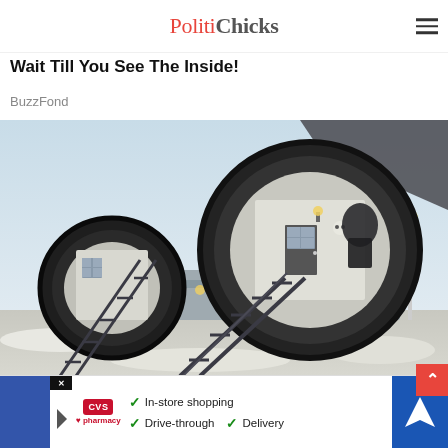PolitiChicks
[Pics] This Tiny House Is Just 8 Feet Wide, But Wait Till You See The Inside!
BuzzFond
[Figure (photo): Photograph of repurposed airplane jet engine housings converted into hotel rooms or living spaces, with metal staircases leading up to circular doors, set in a snowy outdoor environment. A streetlamp is visible in the background.]
[Pics]
[Figure (infographic): CVS Pharmacy advertisement banner showing CVS logo and three features: In-store shopping, Drive-through, Delivery with checkmarks and a navigation/directions icon on the right.]